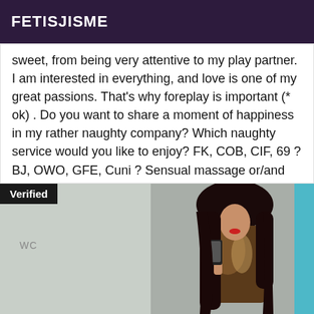FETISJISME
sweet, from being very attentive to my play partner. I am interested in everything, and love is one of my great passions. That's why foreplay is important (* ok) . Do you want to share a moment of happiness in my rather naughty company? Which naughty service would you like to enjoy? FK, COB, CIF, 69 ? BJ, OWO, GFE, Cuni ? Sensual massage or/and prostate massage?
[Figure (photo): Woman with long dark hair taking a mirror selfie in a bathroom, wearing a patterned dress. A 'Verified' badge appears in the top left corner. 'WC' text visible on the left side wall.]